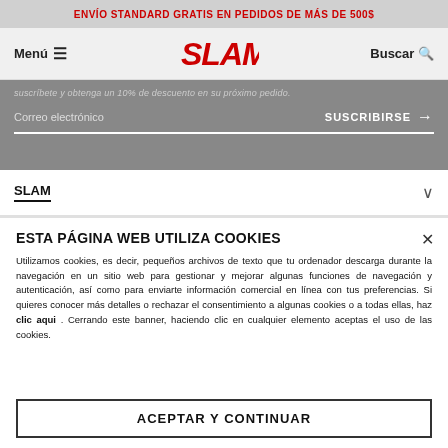ENVÍO STANDARD GRATIS EN PEDIDOS DE MÁS DE 500$
[Figure (logo): SLAM brand logo in red italic bold letters, navigation bar with Menú and Buscar]
suscríbete y obtenga un 10% de descuento en su próximo pedido.
Correo electrónico
SUSCRIBIRSE →
SLAM
ESTA PÁGINA WEB UTILIZA COOKIES
Utilizamos cookies, es decir, pequeños archivos de texto que tu ordenador descarga durante la navegación en un sitio web para gestionar y mejorar algunas funciones de navegación y autenticación, así como para enviarte información comercial en línea con tus preferencias. Si quieres conocer más detalles o rechazar el consentimiento a algunas cookies o a todas ellas, haz clic aqui . Cerrando este banner, haciendo clic en cualquier elemento aceptas el uso de las cookies.
ACEPTAR Y CONTINUAR